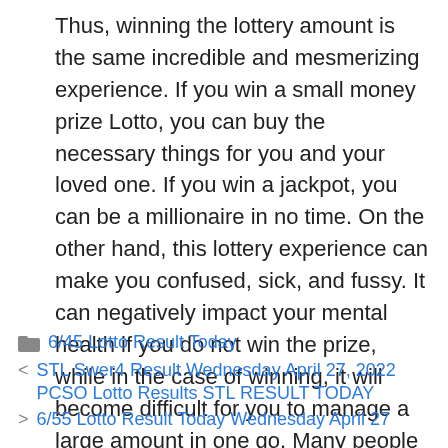Thus, winning the lottery amount is the same incredible and mesmerizing experience. If you win a small money prize Lotto, you can buy the necessary things for you and your loved one. If you win a jackpot, you can be a millionaire in no time. On the other hand, this lottery experience can make you confused, sick, and fussy. It can negatively impact your mental health if you do not win the prize, while in the case of winning, it will become difficult for you to manage a large amount in one go. Many people get psychologically ill due to these lottery games.
6/45 Lotto Result Today
< STL Swer4 Result Wednesday April 27, 2022 PCSO Lotto Results STL RESULT TODAY
> 6/55 Lotto Result Today Wednesday April 27